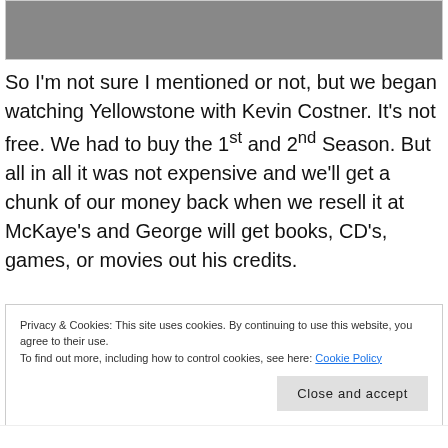[Figure (photo): Partial view of a group photo, likely a TV show cast image, cropped at the top of the page.]
So I'm not sure I mentioned or not, but we began watching Yellowstone with Kevin Costner. It's not free. We had to buy the 1st and 2nd Season. But all in all it was not expensive and we'll get a chunk of our money back when we resell it at McKaye's and George will get books, CD's, games, or movies out his credits.
Privacy & Cookies: This site uses cookies. By continuing to use this website, you agree to their use.
To find out more, including how to control cookies, see here: Cookie Policy
Close and accept